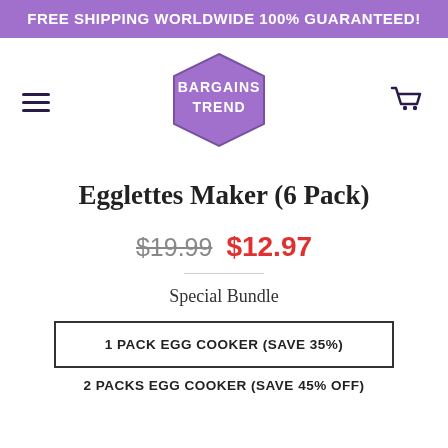FREE SHIPPING WORLDWIDE 100% GUARANTEED!
[Figure (logo): Bargains Trend hexagon logo in purple with white text]
Egglettes Maker (6 Pack)
$19.99  $12.97
Special Bundle
1 PACK EGG COOKER (SAVE 35%)
2 PACKS EGG COOKER (SAVE 45% OFF)